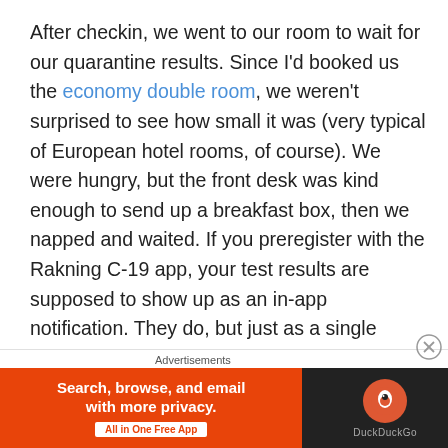After checkin, we went to our room to wait for our quarantine results. Since I'd booked us the economy double room, we weren't surprised to see how small it was (very typical of European hotel rooms, of course). We were hungry, but the front desk was kind enough to send up a breakfast box, then we napped and waited. If you preregister with the Rakning C-19 app, your test results are supposed to show up as an in-app notification. They do, but just as a single notification— you can't go back and see them later, and we didn't get an email or SMS notification. We got the popup after about a 4.5 hour wait, which seems to be pretty typical. The COVID.is website
[Figure (screenshot): DuckDuckGo advertisement banner with orange left section reading 'Search, browse, and email with more privacy. All in One Free App' and dark right section with DuckDuckGo logo]